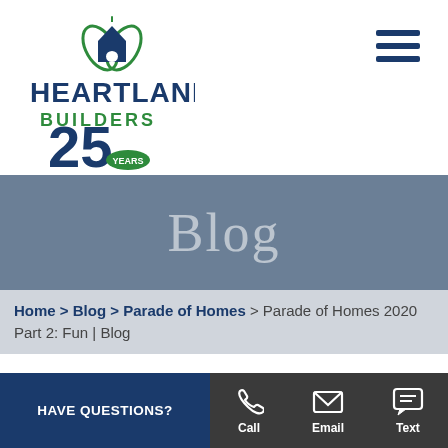[Figure (logo): Heartland Builders 25 Years logo with house/leaf icon in blue and green]
[Figure (other): Hamburger menu icon — three horizontal blue bars]
Blog
Home > Blog > Parade of Homes > Parade of Homes 2020 Part 2: Fun | Blog
HAVE QUESTIONS?  Call  Email  Text